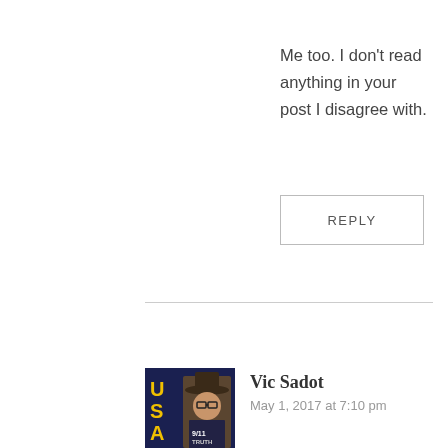Me too. I don't read anything in your post I disagree with.
REPLY
[Figure (photo): Avatar photo of Vic Sadot showing USA text on left side and a person wearing a hat on the right side]
Vic Sadot
May 1, 2017 at 7:10 pm
Excellent article for the genuine 9/11 Truth movement to read by Craig McKee! Yes, we need a “big tent”. But we cannot accommodate intellectual bullying of the sort that Chomsky does to the lemming part of the left, within the genuine truth movement.
Craig McKee does a great service in advising these strategies. Unfortunately,